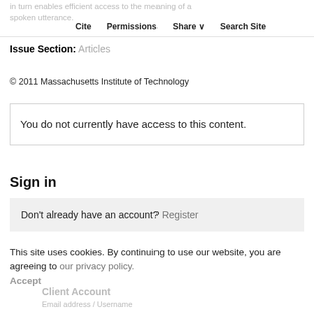in turn enables efficient access to the meaning of a spoken utterance. | Cite | Permissions | Share | Search Site
Issue Section: Articles
© 2011 Massachusetts Institute of Technology
You do not currently have access to this content.
Sign in
Don't already have an account? Register
This site uses cookies. By continuing to use our website, you are agreeing to our privacy policy. Accept